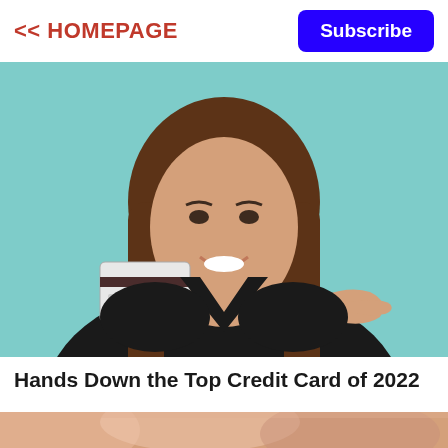<< HOMEPAGE
Subscribe
[Figure (photo): Young woman with long brown hair holding a credit card in one hand and pointing at it with the other hand, smiling, wearing a black top, against a teal/light blue background.]
Hands Down the Top Credit Card of 2022
[Figure (photo): Partial view of a second image below the title, showing colorful abstract or close-up textures in warm tones (pink, orange, white).]